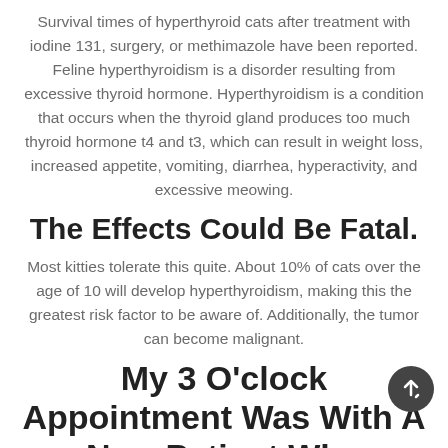Survival times of hyperthyroid cats after treatment with iodine 131, surgery, or methimazole have been reported. Feline hyperthyroidism is a disorder resulting from excessive thyroid hormone. Hyperthyroidism is a condition that occurs when the thyroid gland produces too much thyroid hormone t4 and t3, which can result in weight loss, increased appetite, vomiting, diarrhea, hyperactivity, and excessive meowing.
The Effects Could Be Fatal.
Most kitties tolerate this quite. About 10% of cats over the age of 10 will develop hyperthyroidism, making this the greatest risk factor to be aware of. Additionally, the tumor can become malignant.
My 3 O'clock Appointment Was With A New Patient Who